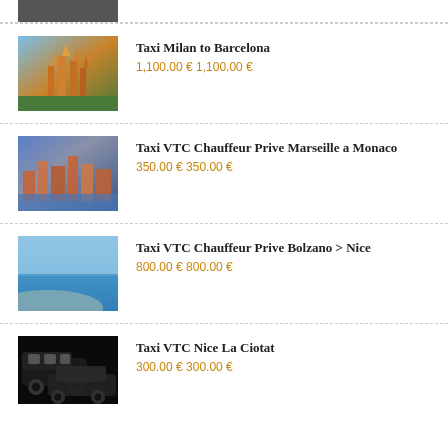[Figure (photo): Partially visible image at top (cropped)]
Taxi Milan to Barcelona
1,100.00 € 1,100.00 €
[Figure (photo): Aerial view of Sagrada Familia, Barcelona]
Taxi VTC Chauffeur Prive Marseille a Monaco
350.00 € 350.00 €
[Figure (photo): Aerial view of Monaco cityscape]
Taxi VTC Chauffeur Prive Bolzano > Nice
800.00 € 800.00 €
[Figure (photo): Coastal beach scene, Nice]
Taxi VTC Nice La Ciotat
300.00 € 300.00 €
[Figure (photo): Black luxury Mercedes/VTC cars]